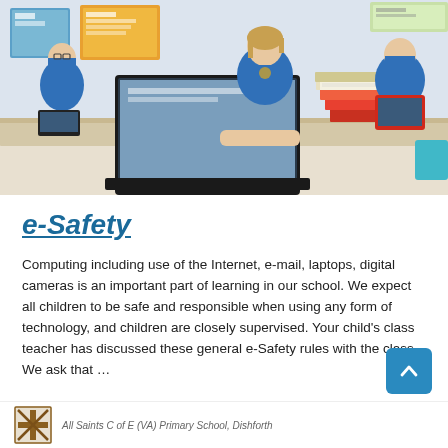[Figure (photo): Children in school uniforms using laptops and tablets at desks in a classroom. A girl in a blue uniform is prominently shown working on a laptop in the center.]
e-Safety
Computing including use of the Internet, e-mail, laptops, digital cameras is an important part of learning in our school. We expect all children to be safe and responsible when using any form of technology, and children are closely supervised. Your child's class teacher has discussed these general e-Safety rules with the class. We ask that …
All Saints C of E (VA) Primary School, Dishforth